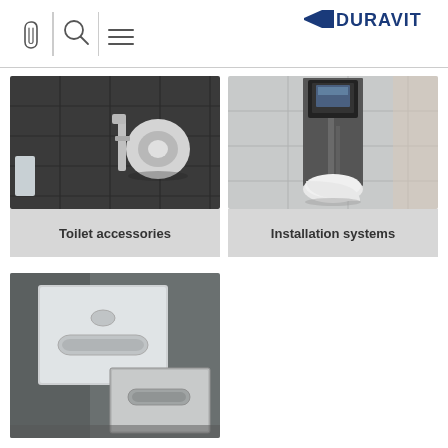[Figure (logo): Duravit logo with three navigation icons: paperclip, magnifying glass, and hamburger menu on the left; Duravit brand logo on the right]
[Figure (photo): Photo of a chrome toilet paper holder mounted on a dark grey tiled wall]
Toilet accessories
[Figure (photo): Photo of a wall-hung toilet with visible installation/cistern system behind it in a tiled bathroom]
Installation systems
[Figure (photo): Photo of two flush plates/actuator plates for toilet installation systems, one glass and one metal, against a grey background]